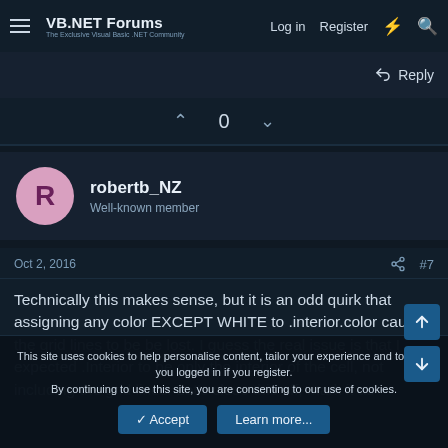VB.NET Forums — The Exclusive Visual Basic .NET Community | Log in | Register
Reply
0
robertb_NZ
Well-known member
Oct 2, 2016
#7
Technically this makes sense, but it is an odd quirk that assigning any color EXCEPT WHITE to .interior.color causes the grid lines to be be lost. I guess the real issue is that I expected .Interior to be only the interior of the cell, not including the grid lines. Let's close this off, mark it as
This site uses cookies to help personalise content, tailor your experience and to keep you logged in if you register.
By continuing to use this site, you are consenting to our use of cookies.
Accept
Learn more...